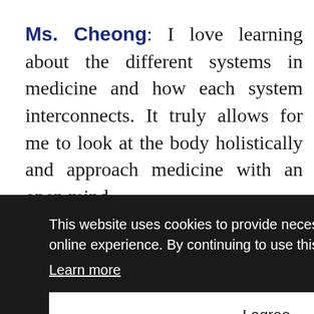Ms. Cheong: I love learning about the different systems in medicine and how each system interconnects. It truly allows for me to look at the body holistically and approach medicine with an open mind.
This website uses cookies to provide necessary site functionality and improve your online experience. By continuing to use this website, you agree to our use of cookies. Learn more  I agree
motivated to continuously study to ensure